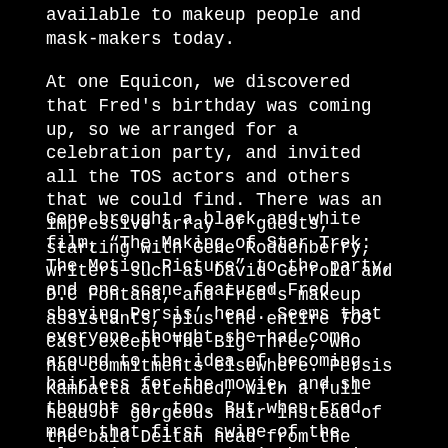available to makeup people and mask-makers today. At one Equicon, we discovered that Fred's birthday was coming up, so we arranged for a celebration party, and invited all the TOS actors and others that we could find. There was an impressive array of guests, starting with Gene Roddenberry, writers such as David Gerrold and D.C Fontana, and Fred's makeup assistants, plus the entire TOS cast except The Big Three, who had commitments elsewhere. Persis Kambatta attended, with a full head of gorgeous hair instead of the bald Deltan head from the first Star Trek movie.
Gene brought a black and white film, “The Making of Star Trek: The Motion Picture” to the party, and one scene featured Fred shaving Persis’ head. Seems that everyone thought she had come around to the idea of becoming hairless for the movie, and she thought so, too. But when Fred made that first swipe of the electric razor, Persis burst into tears. Fred handed her a tissue and continued removing all her hair. At first, she would not go outside the set without a large hat. Later, she